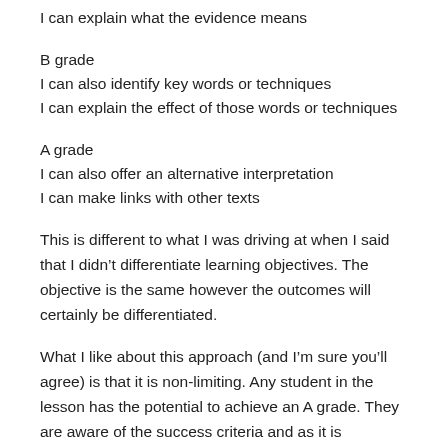I can explain what the evidence means
B grade
I can also identify key words or techniques
I can explain the effect of those words or techniques
A grade
I can also offer an alternative interpretation
I can make links with other texts
This is different to what I was driving at when I said that I didn’t differentiate learning objectives. The objective is the same however the outcomes will certainly be differentiated.
What I like about this approach (and I’m sure you’ll agree) is that it is non-limiting. Any student in the lesson has the potential to achieve an A grade. They are aware of the success criteria and as it is